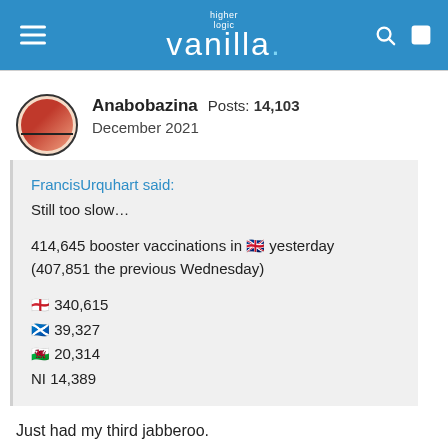higher logic vanilla
Anabobazina  Posts: 14,103
December 2021
FrancisUrquhart said:
Still too slow...

414,645 booster vaccinations in 🇬🇧 yesterday
(407,851 the previous Wednesday)

🏴󠁧󠁢󠁥󠁮󠁧󠁿 340,615
🏴󠁧󠁢󠁳󠁣󠁴󠁿 39,327
🏴󠁧󠁢󠁷󠁬󠁳󠁿 20,314
NI 14,389
Just had my third jabberoo.